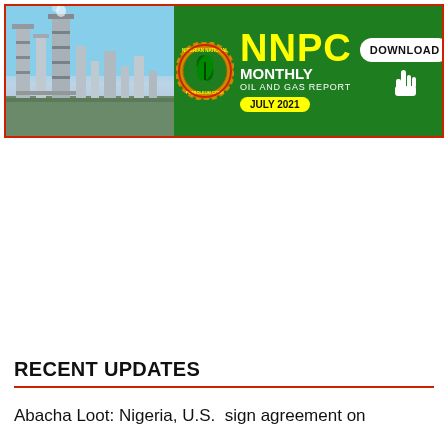[Figure (illustration): NNPC Monthly Oil and Gas Report banner for July 2021. Shows a refinery photo on the left, the NNPC logo in the center-left, and bold yellow text reading 'NNPC MONTHLY OIL AND GAS REPORT JULY 2021' with a DOWNLOAD button on the right, all on a green background with red border.]
RECENT UPDATES
Abacha Loot: Nigeria, U.S.  sign agreement on